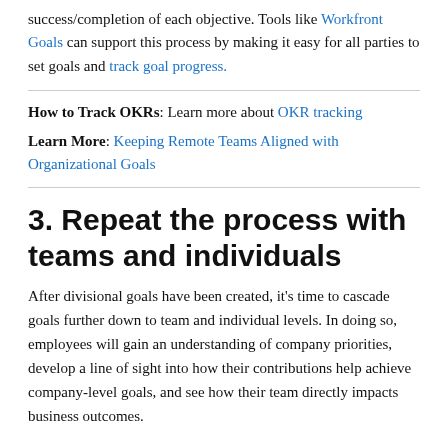success/completion of each objective. Tools like Workfront Goals can support this process by making it easy for all parties to set goals and track goal progress.
How to Track OKRs: Learn more about OKR tracking
Learn More: Keeping Remote Teams Aligned with Organizational Goals
3. Repeat the process with teams and individuals
After divisional goals have been created, it's time to cascade goals further down to team and individual levels. In doing so, employees will gain an understanding of company priorities, develop a line of sight into how their contributions help achieve company-level goals, and see how their team directly impacts business outcomes.
4. M...